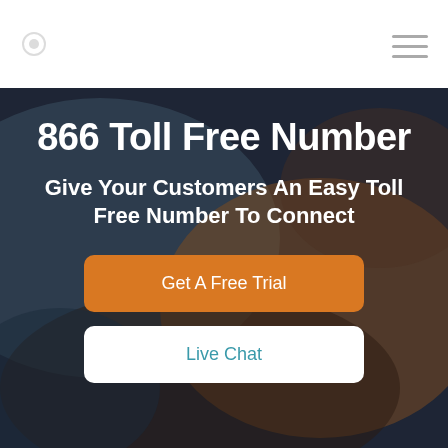Navigation bar with logo and hamburger menu
866 Toll Free Number
Give Your Customers An Easy Toll Free Number To Connect
Get A Free Trial
Live Chat